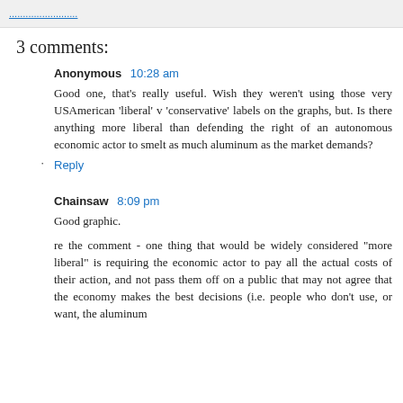.....................
3 comments:
Anonymous 10:28 am
Good one, that's really useful. Wish they weren't using those very USAmerican 'liberal' v 'conservative' labels on the graphs, but. Is there anything more liberal than defending the right of an autonomous economic actor to smelt as much aluminum as the market demands?
Reply
Chainsaw 8:09 pm
Good graphic.
re the comment - one thing that would be widely considered "more liberal" is requiring the economic actor to pay all the actual costs of their action, and not pass them off on a public that may not agree that the economy makes the best decisions (i.e. people who don't use, or want, the aluminum